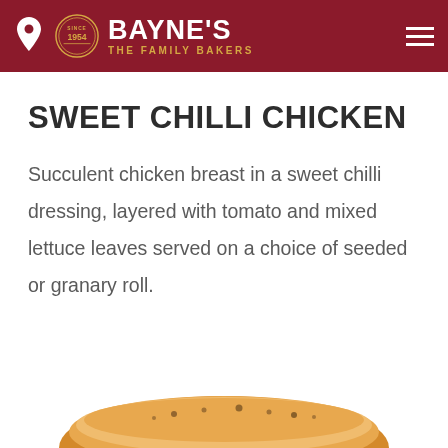BAYNE'S THE FAMILY BAKERS
SWEET CHILLI CHICKEN
Succulent chicken breast in a sweet chilli dressing, layered with tomato and mixed lettuce leaves served on a choice of seeded or granary roll.
[Figure (photo): Partial view of a seeded granary roll from below, partially visible at the bottom of the page]